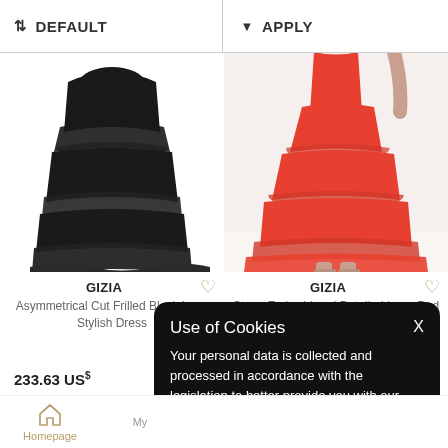DEFAULT | APPLY
[Figure (photo): Black tiered long dress (Gizia Asymmetrical Cut Frilled Black Long Stylish Dress)]
[Figure (photo): Red tiered long dress (Gizia Stone Embroidered Detailed Long Red Dress)]
GIZIA
Asymmetrical Cut Frilled Black Long Stylish Dress
GIZIA
Stone Embroidered Detailed Long Red Dress
233.63 US
%9 Off at Ca... 212.79 US
Use of Cookies
Your personal data is collected and processed in accordance with the legislation to better provide you with our services. You may review our Privacy Policy for detailed information on the matter.
Homepage | My